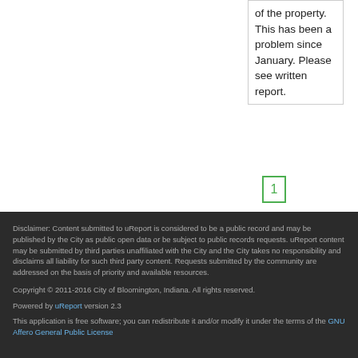of the property. This has been a problem since January. Please see written report.
1
Disclaimer: Content submitted to uReport is considered to be a public record and may be published by the City as public open data or be subject to public records requests. uReport content may be submitted by third parties unaffiliated with the City and the City takes no responsibility and disclaims all liability for such third party content. Requests submitted by the community are addressed on the basis of priority and available resources.
Copyright © 2011-2016 City of Bloomington, Indiana. All rights reserved.
Powered by uReport version 2.3
This application is free software; you can redistribute it and/or modify it under the terms of the GNU Affero General Public License